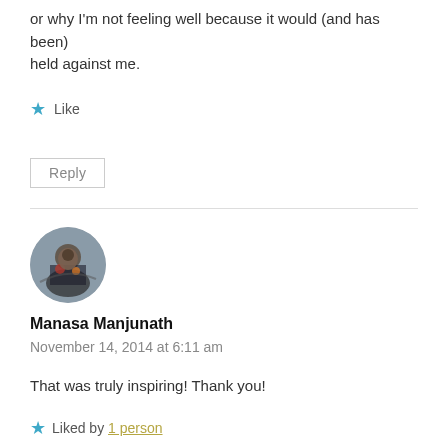or why I'm not feeling well because it would (and has been) held against me.
★ Like
Reply
[Figure (photo): Circular avatar photo of Manasa Manjunath showing a group of people outdoors]
Manasa Manjunath
November 14, 2014 at 6:11 am
That was truly inspiring! Thank you!
★ Liked by 1 person